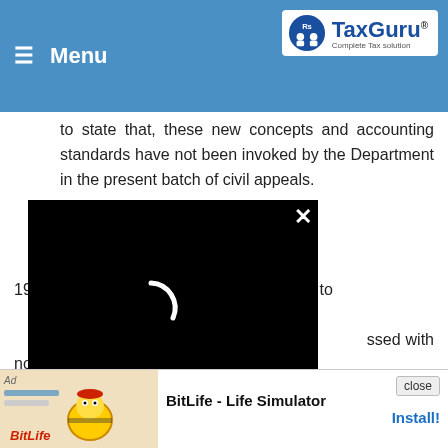Menu | TaxGuru - Complete Tax Solution
future cases of chit transactions. We express no opinion in that regard.
to state that, these new concepts and accounting standards have not been invoked by the Department in the present batch of civil appeals.
19. Subject to above, we see no reason to [interfere with the i]mpugned judgment of the [High Court and] accordingly the civil [appeals are dismi]ssed with no order as to [costs.]
[Twentieth Centur]s Limited & Anr. v. UOI & Ors. (2007) 292 ITR 470 (Cal-HC)
9. The objects and reasons as disclosed by the Finance Act 1983 for creating Section 43B
[Figure (screenshot): Black video overlay with spinning loading arc and close (X) button]
[Figure (screenshot): Ad banner for BitLife - Life Simulator mobile game with close button and Install link]